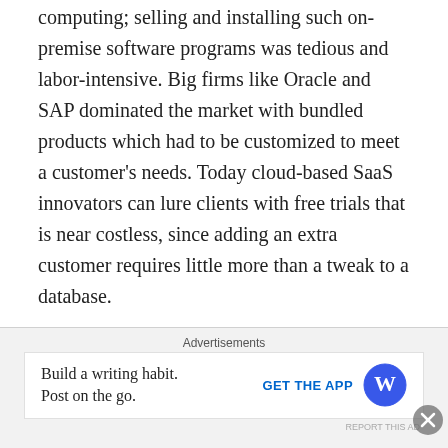computing; selling and installing such on-premise software programs was tedious and labor-intensive. Big firms like Oracle and SAP dominated the market with bundled products which had to be customized to meet a customer's needs. Today cloud-based SaaS innovators can lure clients with free trials that is near costless, since adding an extra customer requires little more than a tweak to a database.
And in an important industry trend which we highlighted in a previous issue as “The Power of One”, struggling SaaS firm Dropbox announced in June 2019 that it is revamping its user experience across all its platforms in its biggest redesign in 12 years to create a new integrated workspace
Advertisements
Build a writing habit. Post on the go. GET THE APP